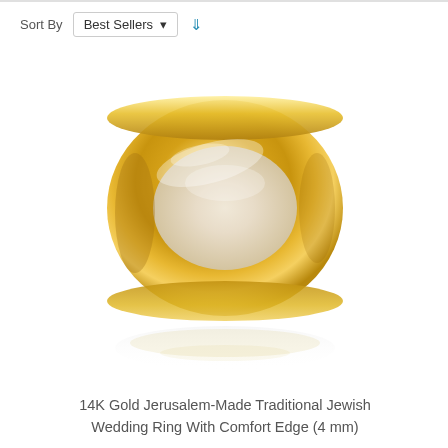Sort By   Best Sellers ▾ ↓
[Figure (photo): 14K gold wedding ring with comfort edge, plain polished band, viewed from slight angle on white background with soft reflection below]
14K Gold Jerusalem-Made Traditional Jewish Wedding Ring With Comfort Edge (4 mm)
$579.00